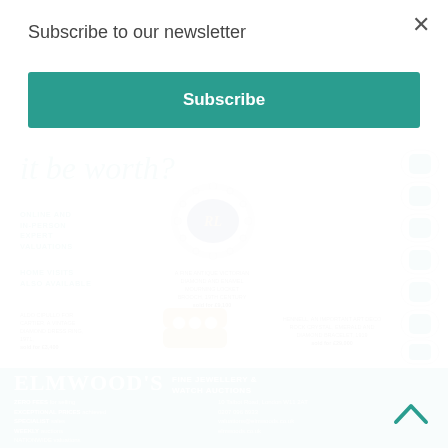Subscribe to our newsletter
Subscribe
[Figure (illustration): Elmwood's Fine Jewellery & Watch Auctions advertisement showing antique jewellery pieces including a Victorian diamond and enamel mourning locket brooch, an Aldo Cipullo for Cartier vintage diamond dress ring, and a Hennell Art Deco rock crystal emerald and diamond bracelet. Text includes 'it be worth?', online and in-person expert valuations, home visits also available, zero fees for selling, exceptional prices achieved, specialist sales, weekly auctions, nationwide valuations. Address: 10 Talbot Road, London W11 2AT, 0207 096 8933, valuations@elmwoods.co.uk]
×